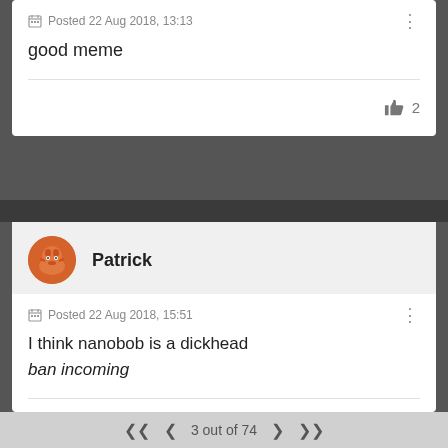Posted 22 Aug 2018, 13:13
good meme
👍 2
Patrick
Posted 22 Aug 2018, 15:51
I think nanobob is a dickhead
ban incoming
👍 10
3 out of 74